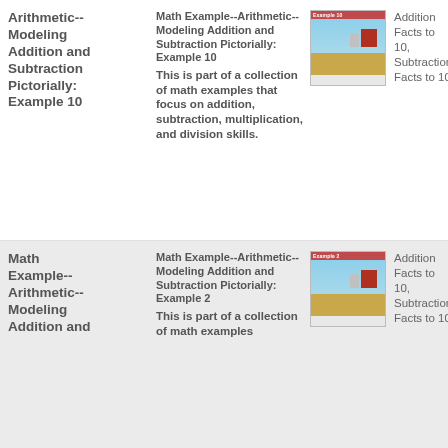Arithmetic--Modeling Addition and Subtraction Pictorially: Example 10
Math Example--Arithmetic--Modeling Addition and Subtraction Pictorially: Example 10 This is part of a collection of math examples that focus on addition, subtraction, multiplication, and division skills.
[Figure (illustration): Thumbnail image of a farm scene with barn, silo, and golden field]
Addition Facts to 10, Subtraction Facts to 10
Math Example--Arithmetic--Modeling Addition and
Math Example--Arithmetic--Modeling Addition and Subtraction Pictorially: Example 2 This is part of a collection of math examples
[Figure (illustration): Thumbnail image of a farm scene with barn and golden field]
Addition Facts to 10, Subtraction Facts to 10